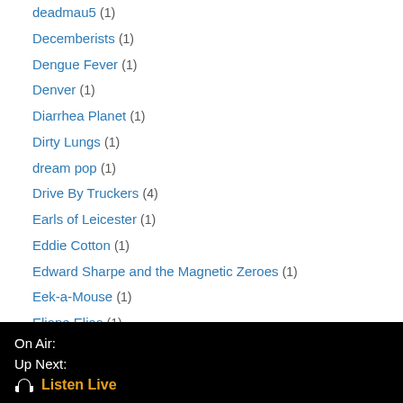deadmau5 (1)
Decemberists (1)
Dengue Fever (1)
Denver (1)
Diarrhea Planet (1)
Dirty Lungs (1)
dream pop (1)
Drive By Truckers (4)
Earls of Leicester (1)
Eddie Cotton (1)
Edward Sharpe and the Magnetic Zeroes (1)
Eek-a-Mouse (1)
Eliane Elias (1)
Elvis Costello (1)
Emma Donovan and the Putbacks (1)
empty houses (1)
On Air:
Up Next:
🎧 Listen Live